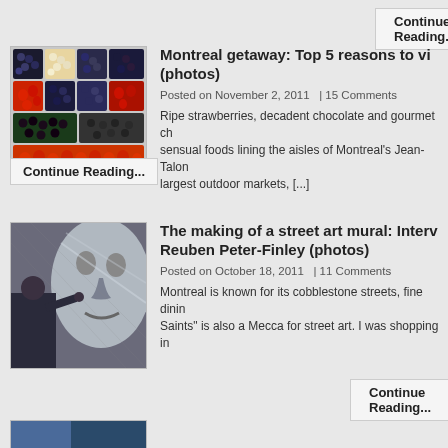Continue Reading...
[Figure (photo): Colorful containers of berries and strawberries at a market]
Montreal getaway: Top 5 reasons to visit (photos)
Posted on November 2, 2011  | 15 Comments
Ripe strawberries, decadent chocolate and gourmet cheese... sensual foods lining the aisles of Montreal's Jean-Talon... largest outdoor markets, [...]
Continue Reading...
[Figure (photo): Man painting a large street art mural of a face on a wall]
The making of a street art mural: Interview Reuben Peter-Finley (photos)
Posted on October 18, 2011  | 11 Comments
Montreal is known for its cobblestone streets, fine dining... Saints" is also a Mecca for street art. I was shopping in...
Continue Reading...
[Figure (photo): Partial thumbnail of a third article image at bottom of page]